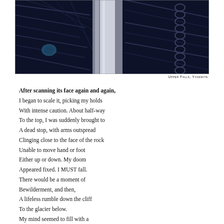[Figure (illustration): Dark woodcut-style illustration of Upper Falls, Yosemite, showing a waterfall and rocky cliff face in dark navy/black tones with detailed line work.]
Upper Falls, Yosemite
After scanning its face again and again,
I began to scale it, picking my holds
With intense caution. About half-way
To the top, I was suddenly brought to
A dead stop, with arms outspread
Clinging close to the face of the rock
Unable to move hand or foot
Either up or down. My doom
Appeared fixed. I MUST fall.
There would be a moment of
Bewilderment, and then,
A lifeless rumble down the cliff
To the glacier below.
My mind seemed to fill with a
Stifling smoke. This terrible eclipse
I ot do d t d lif d h